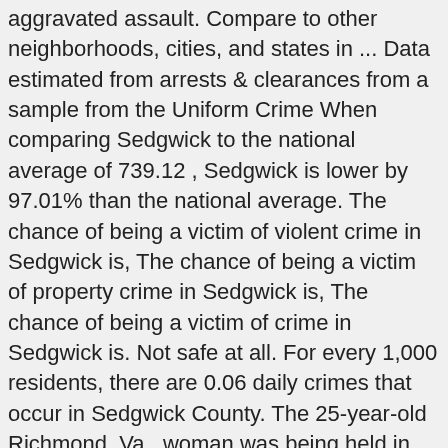aggravated assault. Compare to other neighborhoods, cities, and states in ... Data estimated from arrests & clearances from a sample from the Uniform Crime When comparing Sedgwick to the national average of 739.12 , Sedgwick is lower by 97.01% than the national average. The chance of being a victim of violent crime in Sedgwick is, The chance of being a victim of property crime in Sedgwick is, The chance of being a victim of crime in Sedgwick is. Not safe at all. For every 1,000 residents, there are 0.06 daily crimes that occur in Sedgwick County. The 25-year-old Richmond, Va., woman was being held in Sedgwick County jail pending a warrant charging her with bank robbery, police said. Not very safe. The violent crime rate is currently 17.3 percent above the 10-year average,” the KBI said. Washington, D.C. 2011. Click here to watch a video about what you will be able to do using our app. The Bureau of Labor Statistics revised seasonally adjusted preliminary total nonfarm jobs estimates for October